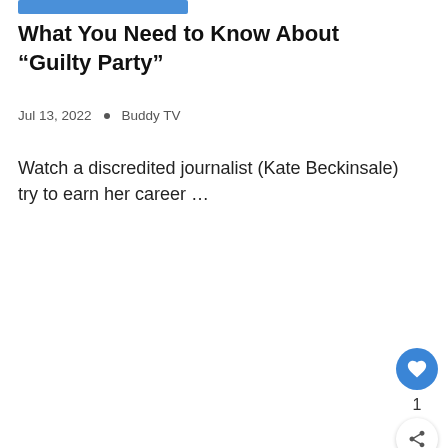[Figure (other): Blue rectangular bar/button at top of page]
What You Need to Know About “Guilty Party”
Jul 13, 2022 • Buddy TV
Watch a discredited journalist (Kate Beckinsale) try to earn her career …
our sponsors
[Figure (other): WHAT'S NEXT arrow widget showing 'The x Factor' Recap: Top ... with Buddy TV thumbnail]
Your ad could be here.
[Figure (other): Bottom banner ad with purple background reading MAKE A FRIEND with dog image and close button]